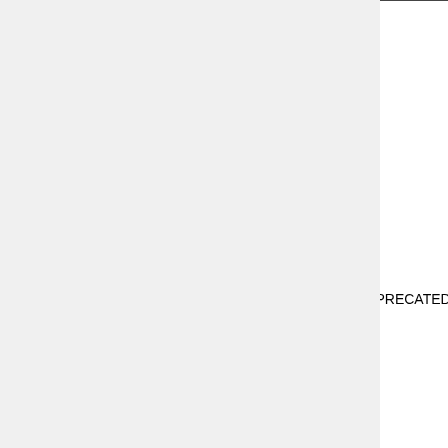| Name | Status | Description |
| --- | --- | --- |
| formattedText | DEPRECATED | The ... the ... to ... ma... HT... str... qu... the... are... pro... Ma... |
| images | STABLE | Th... the... pro... rep... ma... PN... giv... ou... bro... |